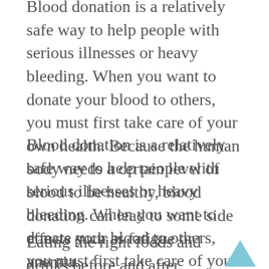Blood donation is a relatively safe way to help people with serious illnesses or heavy bleeding. When you want to donate your blood to others, you must first take care of your own health. Because the human body needs a certain level of blood to be healthy, blood donation can lead to some side effects such as fatigue or anemia.
Blood donation is a relatively safe way to help people with serious illnesses or heavy bleeding. When you want to donate your blood to others, you must first take care of your own health. Because the human body needs a certain level of blood to be healthy, blood donation can lead to some side effects such as fatigue or anemia.
Eating the right foods and drinks before and after donating blood can lead to complications. Reduces